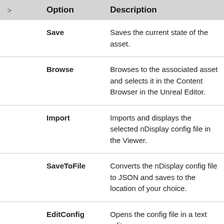|  | Option | Description |
| --- | --- | --- |
| Save | Saves the current state of the asset. |
| Browse | Browses to the associated asset and selects it in the Content Browser in the Unreal Editor. |
| Import | Imports and displays the selected nDisplay config file in the Viewer. |
| SaveToFile | Converts the nDisplay config file to JSON and saves to the location of your choice. |
| EditConfig | Opens the config file in a text editor. |